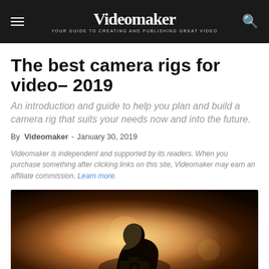Videomaker — YOUR GUIDE TO CREATING AND PUBLISHING GREAT VIDEO
The best camera rigs for video– 2019
An introduction and guide to help you plan and build a camera rig that suits your needs now and into the future.
By Videomaker - January 30, 2019
Videomaker is independent and supported by its readers. When you purchase something after clicking links on this site, Videomaker may earn an affiliate commission. Learn more.
[Figure (photo): Silhouette of a person hunched over a camera, backlit by warm golden/orange light suggesting sunset or studio lighting.]